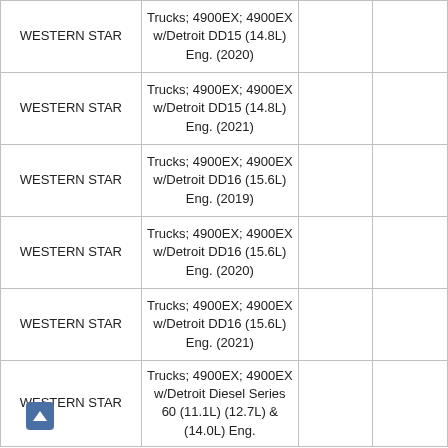| WESTERN STAR | Trucks; 4900EX; 4900EX w/Detroit DD15 (14.8L) Eng. (2020) |  |  |
| WESTERN STAR | Trucks; 4900EX; 4900EX w/Detroit DD15 (14.8L) Eng. (2021) |  |  |
| WESTERN STAR | Trucks; 4900EX; 4900EX w/Detroit DD16 (15.6L) Eng. (2019) |  |  |
| WESTERN STAR | Trucks; 4900EX; 4900EX w/Detroit DD16 (15.6L) Eng. (2020) |  |  |
| WESTERN STAR | Trucks; 4900EX; 4900EX w/Detroit DD16 (15.6L) Eng. (2021) |  |  |
| WESTERN STAR | Trucks; 4900EX; 4900EX w/Detroit Diesel Series 60 (11.1L) (12.7L) & (14.0L) Eng. |  |  |